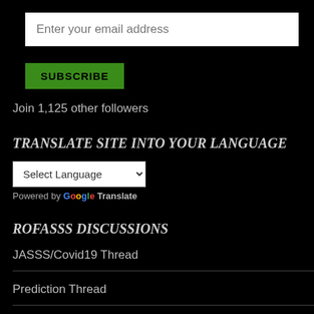Enter your email address
SUBSCRIBE
Join 1,125 other followers
TRANSLATE SITE INTO YOUR LANGUAGE
Select Language
Powered by Google Translate
ROFASSS DISCUSSIONS
JASSS/Covid19 Thread
Prediction Thread
Qual/Quant Thread